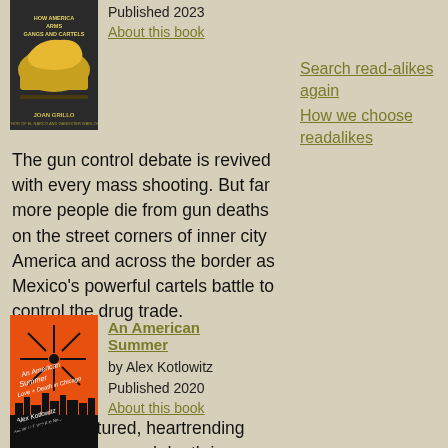[Figure (illustration): Book cover for a book by Joan Grillo about how America arms gangs and cartels, with a gold/yellow map of USA on dark background]
Published 2023
About this book
Search read-alikes again
How we choose readalikes
The gun control debate is revived with every mass shooting. But far more people die from gun deaths on the street corners of inner city America and across the border as Mexico's powerful cartels battle to control the drug trade.
[Figure (illustration): Book cover for An American Summer by Alex Kotlowitz - orange background with dark explosion/splash and city skyline silhouette]
An American Summer
by Alex Kotlowitz
Published 2020
About this book
A richly textured, heartrending portrait of love and death in